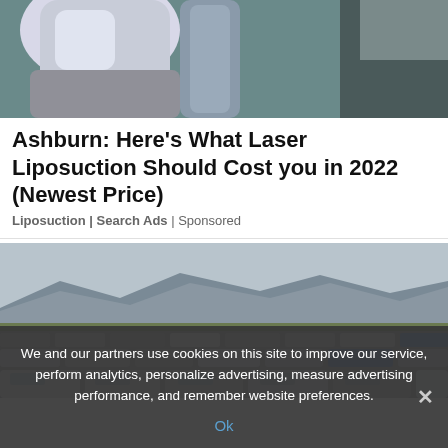[Figure (photo): Top portion of a medical/dental chair or equipment in a clinical setting, partially cropped]
Ashburn: Here's What Laser Liposuction Should Cost you in 2022 (Newest Price)
Liposuction | Search Ads | Sponsored
[Figure (photo): Large outdoor lot filled with hundreds of cars, SUVs and trucks, with a mountain range visible in the background under an overcast sky]
We and our partners use cookies on this site to improve our service, perform analytics, personalize advertising, measure advertising performance, and remember website preferences.
Ok